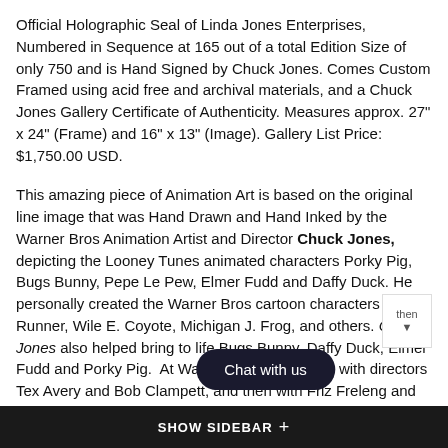Official Holographic Seal of Linda Jones Enterprises, Numbered in Sequence at 165 out of a total Edition Size of only 750 and is Hand Signed by Chuck Jones. Comes Custom Framed using acid free and archival materials, and a Chuck Jones Gallery Certificate of Authenticity. Measures approx. 27" x 24" (Frame) and 16" x 13" (Image). Gallery List Price: $1,750.00 USD.
This amazing piece of Animation Art is based on the original line image that was Hand Drawn and Hand Inked by the Warner Bros Animation Artist and Director Chuck Jones, depicting the Looney Tunes animated characters Porky Pig, Bugs Bunny, Pepe Le Pew, Elmer Fudd and Daffy Duck. He personally created the Warner Bros cartoon characters Road Runner, Wile E. Coyote, Michigan J. Frog, and others. Chuck Jones also helped bring to life Bugs Bunny, Daffy Duck, Elmer Fudd and Porky Pig.  At Warner Bros he worked with directors Tex Avery and Bob Clampett, and then with Friz Freleng and Robert McKimson. He was also a prolific artist whose work is displayed and
SHOW SIDEBAR +